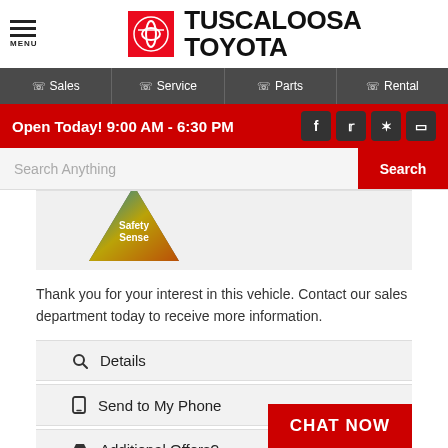[Figure (logo): Tuscaloosa Toyota logo with Toyota emblem on red background and bold brand name]
Sales | Service | Parts | Rental
Open Today! 9:00 AM - 6:30 PM
Search Anything
[Figure (illustration): Toyota Safety Sense badge/logo partially visible]
Thank you for your interest in this vehicle. Contact our sales department today to receive more information.
Details
Send to My Phone
Additional Offers?
CHAT NOW